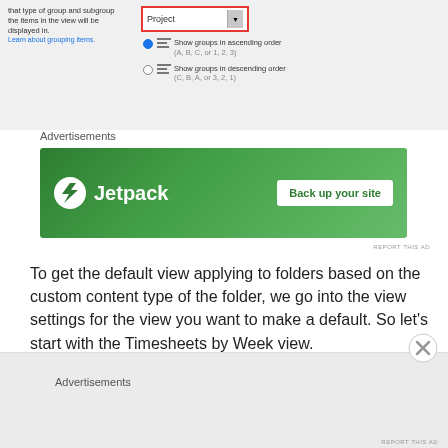[Figure (screenshot): SharePoint/SharePoint-like UI showing grouping options: 'Project' dropdown selected, radio buttons for ascending/descending group order, small blue link 'Learn about grouping items.']
[Figure (other): Jetpack advertisement banner: green background, Jetpack logo with lightning bolt, text 'Jetpack', white button 'Back up your site'. Small 'REPORT THIS AD' text below.]
To get the default view applying to folders based on the custom content type of the folder, we go into the view settings for the view you want to make a default. So let’s start with the Timesheets by Week view.
Check the ‘Make this the default view’ checkbox
Advertisements
Advertisements